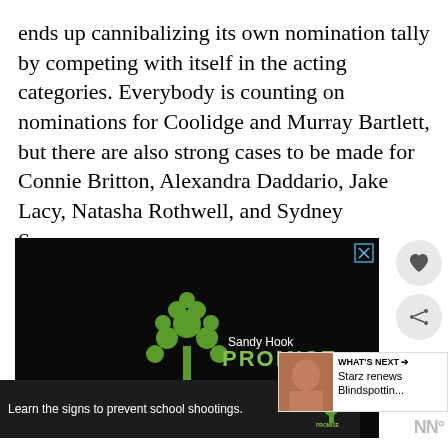ends up cannibalizing its own nomination tally by competing with itself in the acting categories. Everybody is counting on nominations for Coolidge and Murray Bartlett, but there are also strong cases to be made for Connie Britton, Alexandra Daddario, Jake Lacy, Natasha Rothwell, and Sydney Sweeney.
[Figure (screenshot): Sandy Hook Promise advertisement on dark background with green tree logo made of hands, text 'Sandy Hook PROMISE' and 'SandyHookPromise.org'. A secondary bottom banner reads 'Learn the signs to prevent school shootings.' with Sandy Hook Promise logo.]